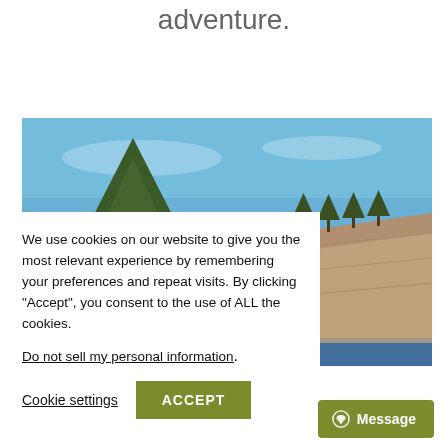adventure.
[Figure (photo): Outdoor landscape photo showing a rocky cliff with sparse trees under a blue sky, with a river or lake in the foreground.]
We use cookies on our website to give you the most relevant experience by remembering your preferences and repeat visits. By clicking “Accept”, you consent to the use of ALL the cookies.
Do not sell my personal information.
Cookie settings
ACCEPT
Message